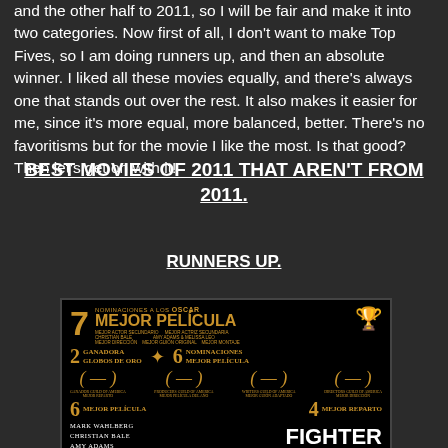and the other half to 2011, so I will be fair and make it into two categories. Now first of all, I don't want to make Top Fives, so I am doing runners up, and then an absolute winner. I liked all these movies equally, and there's always one that stands out over the rest. It also makes it easier for me, since it's more equal, more balanced, better. There's no favoritisms but for the movie I like the most. Is that good? Then let's get on with it!
BEST MOVIES OF 2011 THAT AREN'T FROM 2011.
RUNNERS UP.
[Figure (photo): Movie poster for 'The Fighter' showing Oscar and Golden Globe nominations including 7 Oscar nominations for Best Picture (Mejor Película), 2 Golden Globe awards, and various other awards. Cast includes Mark Wahlberg, Christian Bale, Amy Adams.]